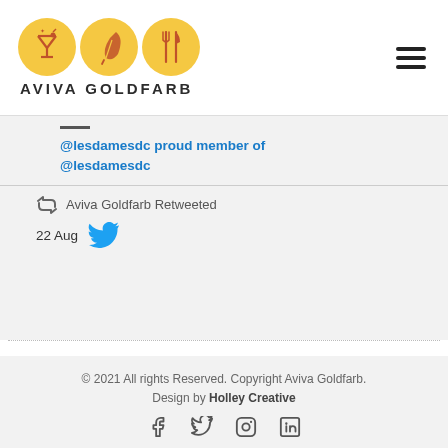[Figure (logo): Aviva Goldfarb logo with three yellow circles containing a cocktail glass, feather/quill, and utensils icons, with text AVIVA GOLDFARB below]
@lesdamesdc proud member of @lesdamesdc
Aviva Goldfarb Retweeted
22 Aug
© 2021 All rights Reserved. Copyright Aviva Goldfarb. Design by Holley Creative